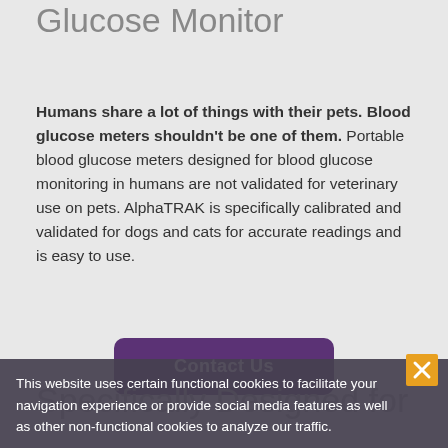Glucose Monitor
Humans share a lot of things with their pets. Blood glucose meters shouldn't be one of them. Portable blood glucose meters designed for blood glucose monitoring in humans are not validated for veterinary use on pets. AlphaTRAK is specifically calibrated and validated for dogs and cats for accurate readings and is easy to use.
Contact Us
Specifically Designed for
This website uses certain functional cookies to facilitate your navigation experience or provide social media features as well as other non-functional cookies to analyze our traffic.